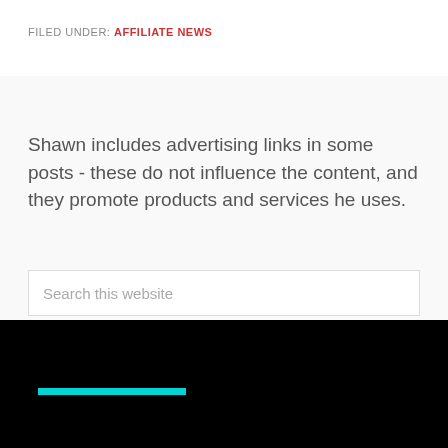FILED UNDER: AFFILIATE NEWS
Shawn includes advertising links in some posts - these do not influence the content, and they promote products and services he uses.
Search this website
[Figure (screenshot): Dark/black background section with a cyan horizontal bar element visible near bottom of page]